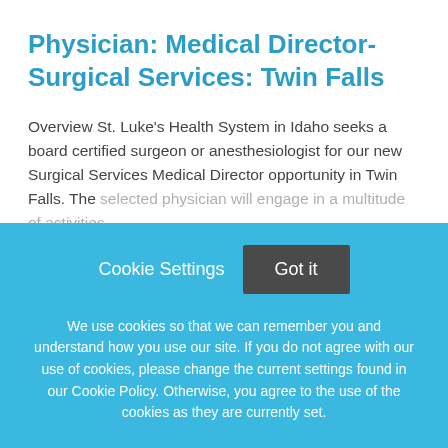Physician: Medical Director- Surgical Services: Twin Falls
Overview St. Luke's Health System in Idaho seeks a board certified surgeon or anesthesiologist for our new Surgical Services Medical Director opportunity in Twin Falls. The selected physician will engage in a multitude of activities
This job listing is no longer active.
Cookie Settings  Got it
We use cookies so that we can remember you and understand how you use our site. If you do not agree with our use of cookies, please change the current settings found in our Cookie Policy. Otherwise, you agree to the use of the cookies as they are currently set.